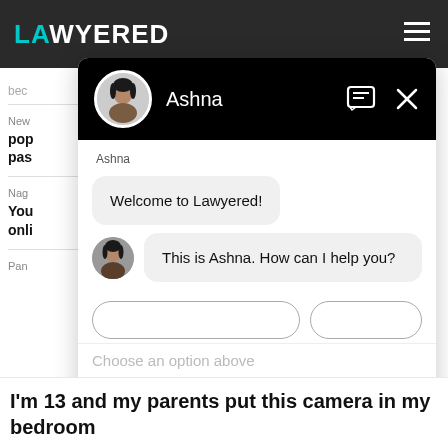[Figure (screenshot): Lawyered website screenshot with a chat overlay featuring an assistant named Ashna. The chat shows welcome messages and option buttons. Background shows partial article text.]
I'm 13 and my parents put this camera in my bedroom